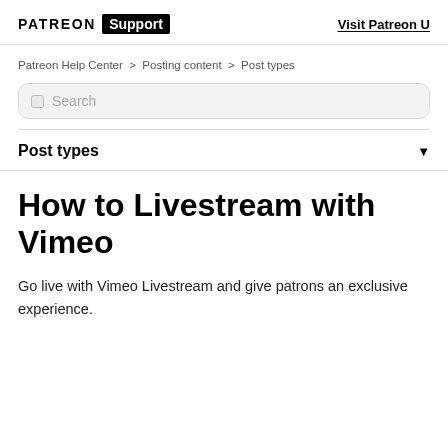PATREON Support — Visit Patreon U
Patreon Help Center > Posting content > Post types
Search
Post types
How to Livestream with Vimeo
Go live with Vimeo Livestream and give patrons an exclusive experience.